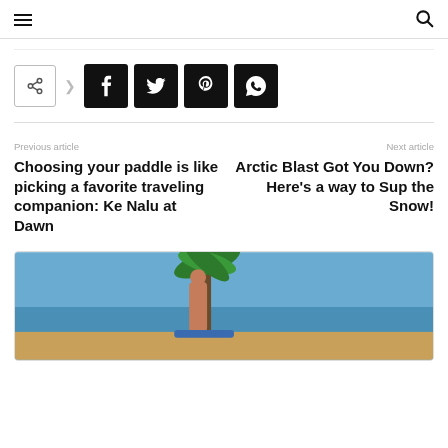Hamburger menu | Search icon
[Figure (infographic): Social share bar with share icon button, arrow, and four social media buttons: Facebook (f), Twitter (bird), Pinterest (P), WhatsApp (phone)]
Previous article
Choosing your paddle is like picking a favorite traveling companion: Ke Nalu at Dawn
Next article
Arctic Blast Got You Down? Here's a way to Sup the Snow!
[Figure (photo): A woman standing near a palm tree on a tropical beach, with blue ocean and sky in the background, holding a paddleboard.]